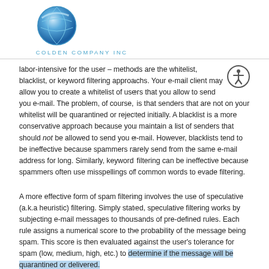[Figure (logo): Colden Company Inc logo — blue circular globe icon above company name text]
labor-intensive for the user – methods are the whitelist, blacklist, or keyword filtering approachs. Your e-mail client may allow you to create a whitelist of users that you allow to send you e-mail. The problem, of course, is that senders that are not on your whitelist will be quarantined or rejected initially. A blacklist is a more conservative approach because you maintain a list of senders that should not be allowed to send you e-mail. However, blacklists tend to be ineffective because spammers rarely send from the same e-mail address for long. Similarly, keyword filtering can be ineffective because spammers often use misspellings of common words to evade filtering.
A more effective form of spam filtering involves the use of speculative (a.k.a heuristic) filtering. Simply stated, speculative filtering works by subjecting e-mail messages to thousands of pre-defined rules. Each rule assigns a numerical score to the probability of the message being spam. This score is then evaluated against the user's tolerance for spam (low, medium, high, etc.) to determine if the message will be quarantined or delivered.